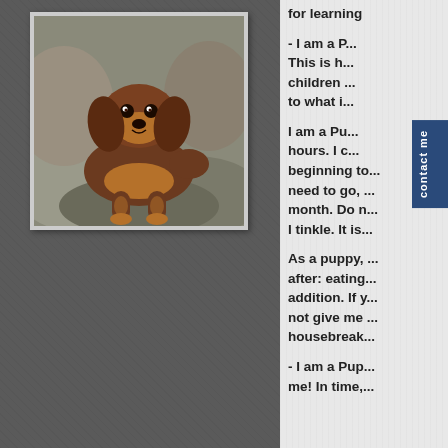[Figure (photo): A brown/tan dachshund puppy sitting on rocks, photographed from slightly above. The puppy has long floppy ears, a plump body, and is looking at the camera.]
for learning
- I am a P... This is h... children ... to what i...
I am a Pu... hours. I c... beginning to... need to go, ... month. Do n... I tinkle. It is...
As a puppy, ... after: eating... addition. If y... not give me ... housebreak...
- I am a Pup... me! In time,...